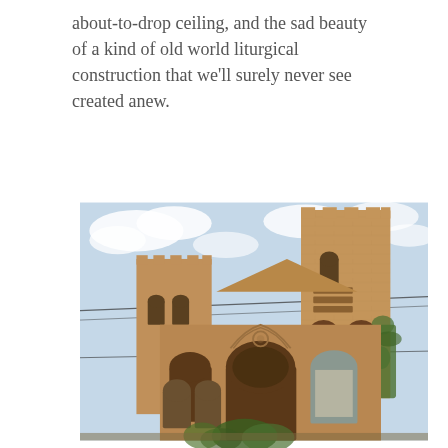about-to-drop ceiling, and the sad beauty of a kind of old world liturgical construction that we'll surely never see created anew.
[Figure (photo): Exterior photograph of an old Gothic revival brick church with two towers, arched windows, Gothic pointed arches, and ivy growing on the facade. The church appears to be in a state of disrepair, taken from a low angle against a partly cloudy sky.]